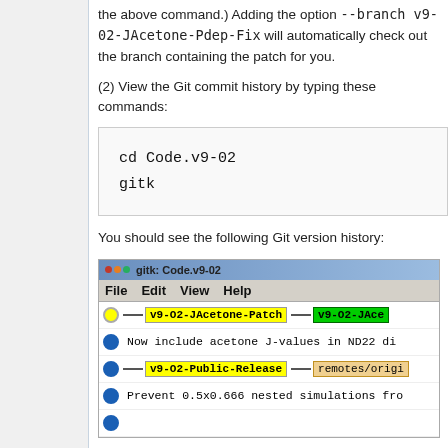the above command.) Adding the option --branch v9-02-JAcetone-Pdep-Fix will automatically check out the branch containing the patch for you.
(2) View the Git commit history by typing these commands:
cd Code.v9-02
gitk
You should see the following Git version history:
[Figure (screenshot): Screenshot of gitk application showing the Git commit history for Code.v9-02, with branches v9-O2-JAcetone-Patch, v9-O2-JAce..., v9-O2-Public-Release, and remotes/origi... visible along with commit messages.]